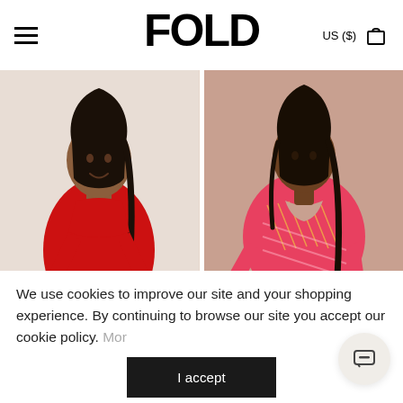FOLD  US ($)
[Figure (photo): Fashion model wearing a red long-sleeve fitted top with peplum detail, smiling, white background]
[Figure (photo): Fashion model wearing a pink/red patterned long-sleeve blouse with open collar, seated, dark jeans]
We use cookies to improve our site and your shopping experience. By continuing to browse our site you accept our cookie policy. More
I accept